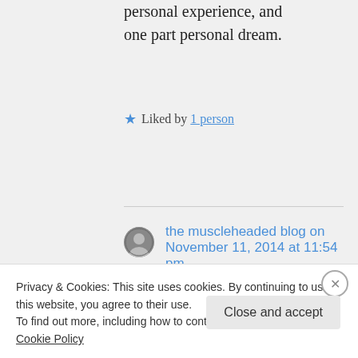personal experience, and one part personal dream.
Liked by 1 person
the muscleheaded blog on November 11, 2014 at 11:54 pm
Wow– did you go to Katmandhu ? How did you
Privacy & Cookies: This site uses cookies. By continuing to use this website, you agree to their use.
To find out more, including how to control cookies, see here: Cookie Policy